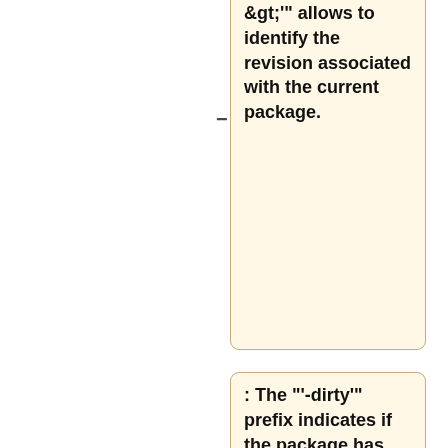&gt;' allows to identify the revision associated with the current package.
: The "'-dirty'" prefix indicates if the package has been generated from a locally modified source tree.
== Example